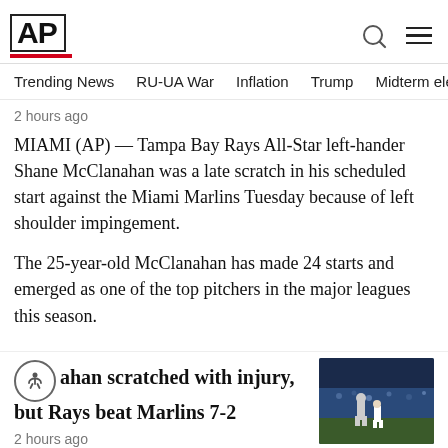AP
Trending News  RU-UA War  Inflation  Trump  Midterm elect
2 hours ago
MIAMI (AP) — Tampa Bay Rays All-Star left-hander Shane McClanahan was a late scratch in his scheduled start against the Miami Marlins Tuesday because of left shoulder impingement.
The 25-year-old McClanahan has made 24 starts and emerged as one of the top pitchers in the major leagues this season.
McClanahan scratched with injury, but Rays beat Marlins 7-2
2 hours ago
[Figure (photo): Baseball player running bases at night game stadium, Tampa Bay Rays uniform]
Houston Astros related article stub with photo